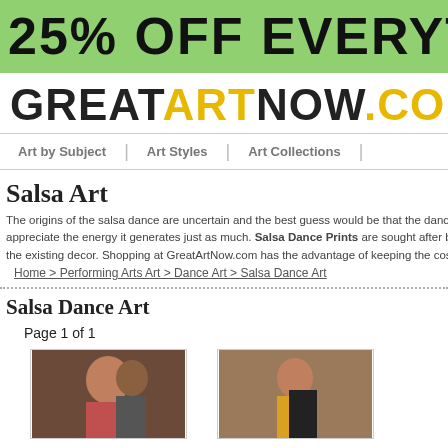25% OFF EVERYTH
GREATARTNOW.COM
Art by Subject | Art Styles | Art Collections |
Salsa Art
The origins of the salsa dance are uncertain and the best guess would be that the dance origin appreciate the energy it generates just as much. Salsa Dance Prints are sought after by those the existing decor. Shopping at GreatArtNow.com has the advantage of keeping the costs low,
Home > Performing Arts Art > Dance Art > Salsa Dance Art
Salsa Dance Art
Page 1 of 1
[Figure (photo): Salsa dance art print showing two dancers embracing]
[Figure (photo): Salsa dance art print showing a dancer in yellow and black]